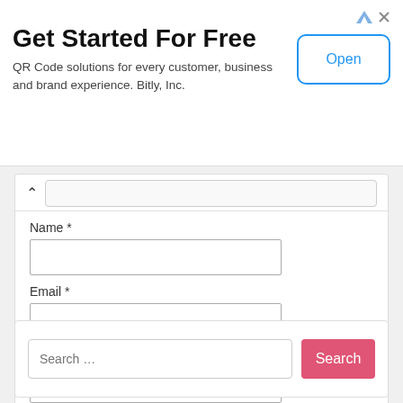[Figure (screenshot): Advertisement banner for Bitly QR Code solutions with 'Get Started For Free' title, subtitle text, and an 'Open' button]
Get Started For Free
QR Code solutions for every customer, business and brand experience. Bitly, Inc.
Name *
Email *
Website
Save my name, email, and website in this browser for the next time I comment.
Post Comment
Search …